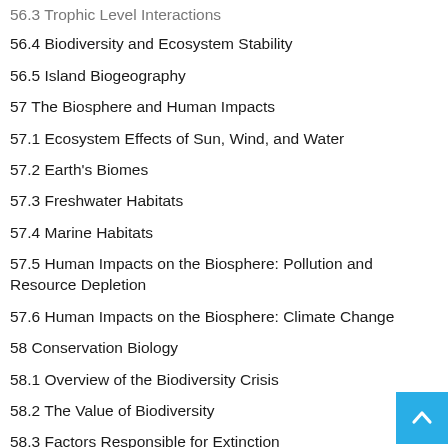56.3 Trophic Level Interactions
56.4 Biodiversity and Ecosystem Stability
56.5 Island Biogeography
57 The Biosphere and Human Impacts
57.1 Ecosystem Effects of Sun, Wind, and Water
57.2 Earth's Biomes
57.3 Freshwater Habitats
57.4 Marine Habitats
57.5 Human Impacts on the Biosphere: Pollution and Resource Depletion
57.6 Human Impacts on the Biosphere: Climate Change
58 Conservation Biology
58.1 Overview of the Biodiversity Crisis
58.2 The Value of Biodiversity
58.3 Factors Responsible for Extinction
58.4 An Evolutionary Perspective on the Biodiversity Crisis
58.5 Approaches for Preserving Endangered Species and Ecosystems